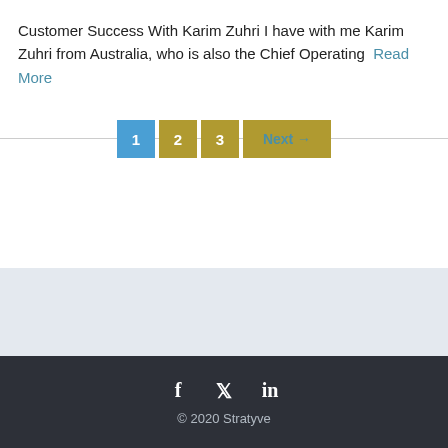Customer Success With Karim Zuhri I have with me Karim Zuhri from Australia, who is also the Chief Operating  Read More
1  2  3  Next →
f  t  in
© 2020 Stratyve